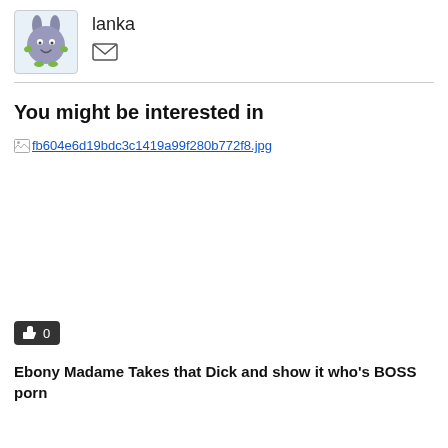[Figure (illustration): Cartoon avatar of a round grey creature with bunny ears and green hands, on a light blue background]
lanka
[Figure (other): Mail/envelope icon]
You might be interested in
[Figure (other): Broken image placeholder linking to fb604e6d19bdc3c1419a99f280b772f8.jpg]
👍 0
Ebony Madame Takes that Dick and show it who's BOSS porn